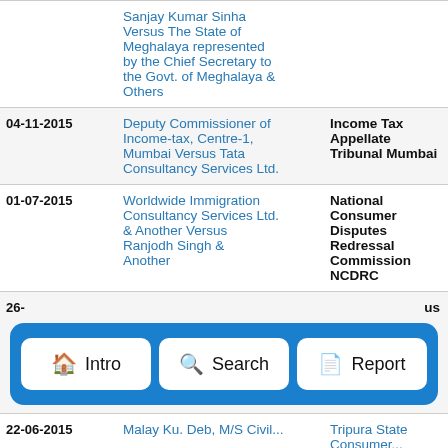| Date | Case | Court |
| --- | --- | --- |
|  | Sanjay Kumar Sinha Versus The State of Meghalaya represented by the Chief Secretary to the Govt. of Meghalaya & Others |  |
| 04-11-2015 | Deputy Commissioner of Income-tax, Centre-1, Mumbai Versus Tata Consultancy Services Ltd. | Income Tax Appellate Tribunal Mumbai |
| 01-07-2015 | Worldwide Immigration Consultancy Services Ltd. & Another Versus Ranjodh Singh & Another | National Consumer Disputes Redressal Commission NCDRC |
| 26-... | ... | ...us |
| 22-06-2015 | Malay Ku. Deb, M/S Civil... | Tripura State Consumer... |
[Figure (infographic): Navigation popup overlay with blue dashed border containing three white buttons: Intro (home icon), Search (magnifier icon), Report (document icon)]